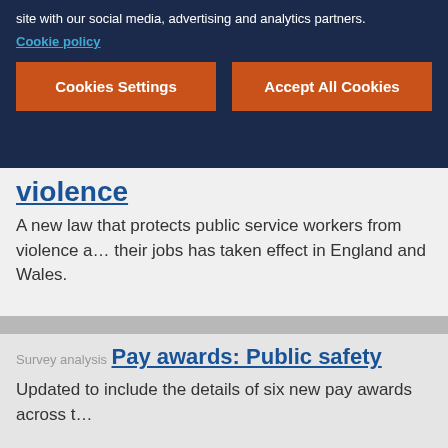site with our social media, advertising and analytics partners.
Cookie policy
Cookies Settings
Accept All Cookies
violence
A new law that protects public service workers from violence a... their jobs has taken effect in England and Wales.
Survey analysis
Pay awards: Public safety
Updated to include the details of six new pay awards across t...